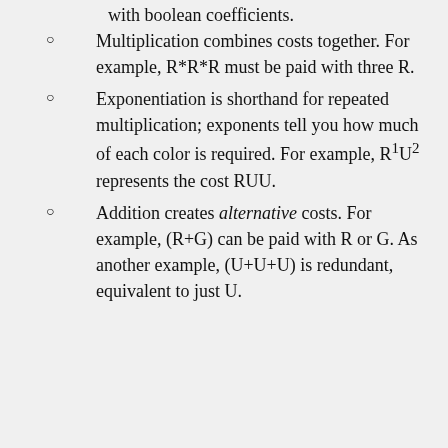with boolean coefficients.
Multiplication combines costs together. For example, R*R*R must be paid with three R.
Exponentiation is shorthand for repeated multiplication; exponents tell you how much of each color is required. For example, R¹U² represents the cost RUU.
Addition creates alternative costs. For example, (R+G) can be paid with R or G. As another example, (U+U+U) is redundant, equivalent to just U.